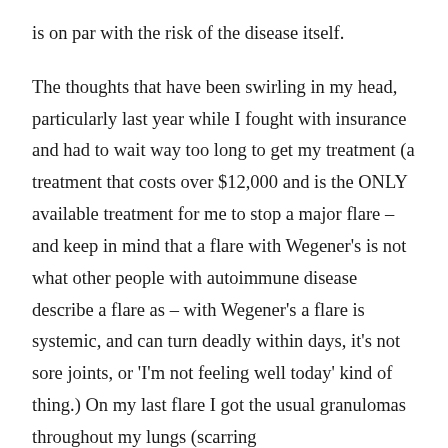is on par with the risk of the disease itself.

The thoughts that have been swirling in my head, particularly last year while I fought with insurance and had to wait way too long to get my treatment (a treatment that costs over $12,000 and is the ONLY available treatment for me to stop a major flare – and keep in mind that a flare with Wegener's is not what other people with autoimmune disease describe a flare as – with Wegener's a flare is systemic, and can turn deadly within days, it's not sore joints, or 'I'm not feeling well today' kind of thing.) On my last flare I got the usual granulomas throughout my lungs (scarring